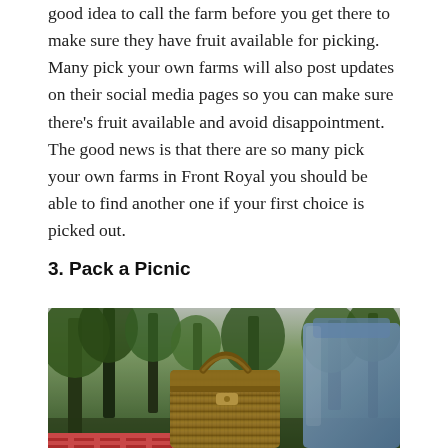good idea to call the farm before you get there to make sure they have fruit available for picking. Many pick your own farms will also post updates on their social media pages so you can make sure there's fruit available and avoid disappointment. The good news is that there are so many pick your own farms in Front Royal you should be able to find another one if your first choice is picked out.
3. Pack a Picnic
[Figure (photo): A wicker picnic basket with a handle and clasp, placed outdoors with a forest/trees background visible behind it, and a blue bag to the right.]